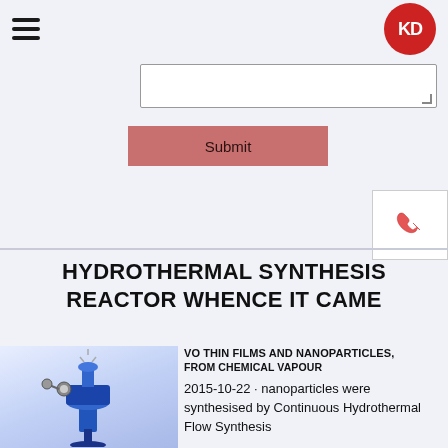KD logo and hamburger menu header
[Figure (screenshot): Text area input box partially visible at top]
[Figure (other): Submit button - pink/rose colored button with text Submit]
[Figure (other): Phone icon widget on right side]
HYDROTHERMAL SYNTHESIS REACTOR WHENCE IT CAME
[Figure (photo): Blue hydrothermal synthesis reactor vessel with gauges and valves]
VO THIN FILMS AND NANOPARTICLES, FROM CHEMICAL VAPOUR
2015-10-22 · nanoparticles were synthesised by Continuous Hydrothermal Flow Synthesis